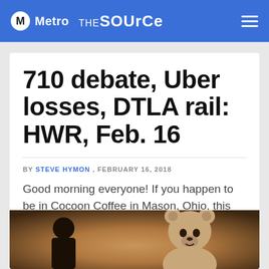Metro THE Source
710 debate, Uber losses, DTLA rail: HWR, Feb. 16
BY STEVE HYMON , FEBRUARY 16, 2018
Good morning everyone! If you happen to be in Cocoon Coffee in Mason, Ohio, this morning swing by my table and say hello. Attentive Source readers know that I am dry-
[Figure (photo): A person and a teddy bear (stuffed animal) sitting at a table, warm brown/amber tones]